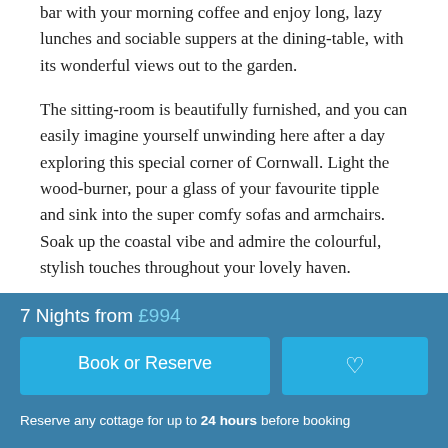bar with your morning coffee and enjoy long, lazy lunches and sociable suppers at the dining-table, with its wonderful views out to the garden.
The sitting-room is beautifully furnished, and you can easily imagine yourself unwinding here after a day exploring this special corner of Cornwall. Light the wood-burner, pour a glass of your favourite tipple and sink into the super comfy sofas and armchairs. Soak up the coastal vibe and admire the colourful, stylish touches throughout your lovely haven.
Head upstairs to discover the four gorgeous bedrooms. You'll find three bedrooms on the first floor, and the gorgeous main bedroom on the second floor, decorated in calming coastal blues with a sumptuous double bed, beautiful views over the countryside and a fabulous en suite shower-room. There's a
7 Nights from £994
Book or Reserve
Reserve any cottage for up to 24 hours before booking